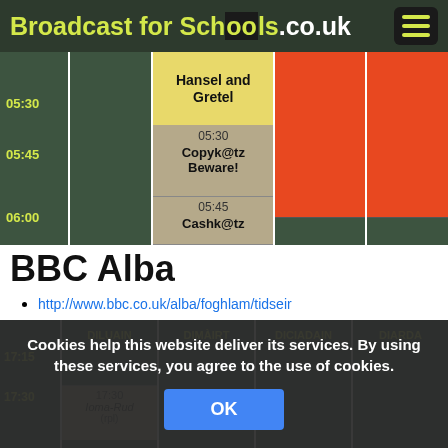Broadcast for Schools.co.uk
[Figure (screenshot): TV schedule grid showing time slots 05:15–06:00 with colored channel columns. Yellow column shows 'Hansel and Gretel' then tan blocks for 'Copyk@tz Beware!' (05:30) and 'Cashk@tz' (05:45). Red/orange columns show solid colored blocks. Green columns show empty dark green blocks. Time labels: 05:30, 05:45, 06:00.]
BBC Alba
http://www.bbc.co.uk/alba/foghlam/tidseir
[Figure (screenshot): Second TV schedule grid for BBC Alba showing columns DILUAIN, DIMÀIRT, DICIADAIN, DIARDA at time 17:15, with a tan block showing 'Ioma-Rud (rpl)' in DILUAIN column around 17:30.]
Cookies help this website deliver its services. By using these services, you agree to the use of cookies.